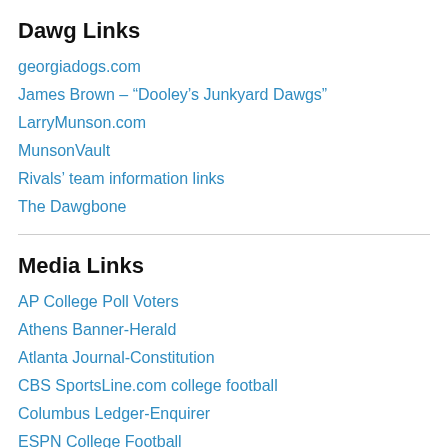Dawg Links
georgiadogs.com
James Brown – “Dooley’s Junkyard Dawgs”
LarryMunson.com
MunsonVault
Rivals’ team information links
The Dawgbone
Media Links
AP College Poll Voters
Athens Banner-Herald
Atlanta Journal-Constitution
CBS SportsLine.com college football
Columbus Ledger-Enquirer
ESPN College Football
Macon Telegraph
News Wired
Phil Steele.com